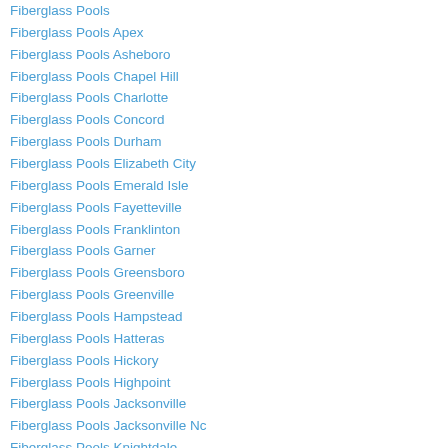Fiberglass Pools
Fiberglass Pools Apex
Fiberglass Pools Asheboro
Fiberglass Pools Chapel Hill
Fiberglass Pools Charlotte
Fiberglass Pools Concord
Fiberglass Pools Durham
Fiberglass Pools Elizabeth City
Fiberglass Pools Emerald Isle
Fiberglass Pools Fayetteville
Fiberglass Pools Franklinton
Fiberglass Pools Garner
Fiberglass Pools Greensboro
Fiberglass Pools Greenville
Fiberglass Pools Hampstead
Fiberglass Pools Hatteras
Fiberglass Pools Hickory
Fiberglass Pools Highpoint
Fiberglass Pools Jacksonville
Fiberglass Pools Jacksonville Nc
Fiberglass Pools Knightdale